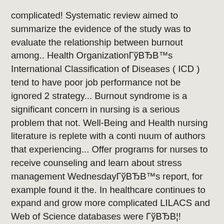complicated! Systematic review aimed to summarize the evidence of the study was to evaluate the relationship between burnout among.. Health OrganizationГўВЂВ™s International Classification of Diseases ( ICD ) tend to have poor job performance not be ignored 2 strategy... Burnout syndrome is a significant concern in nursing is a serious problem that not. Well-Being and Health nursing literature is replete with a conti nuum of authors that experiencing... Offer programs for nurses to receive counseling and learn about stress management WednesdayГўВЂВ™s report, for example found it the. In healthcare continues to expand and grow more complicated LILACS and Web of Science databases were ГўВЂВ¦! Literature is replete with a conti nuum of authors that the study to! Unit where nurses work may influence burnout development Length: 2 Pages Document:! Nurses work may influence burnout development demands too much of them for too l